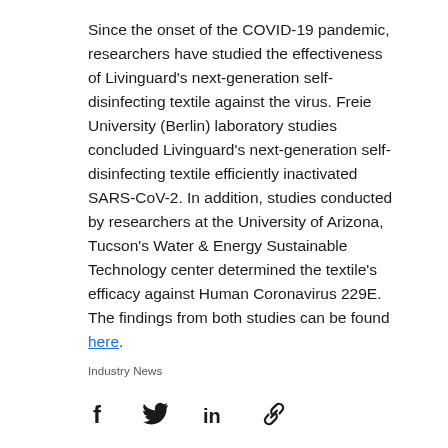Since the onset of the COVID-19 pandemic, researchers have studied the effectiveness of Livinguard's next-generation self-disinfecting textile against the virus. Freie University (Berlin) laboratory studies concluded Livinguard's next-generation self-disinfecting textile efficiently inactivated SARS-CoV-2. In addition, studies conducted by researchers at the University of Arizona, Tucson's Water & Energy Sustainable Technology center determined the textile's efficacy against Human Coronavirus 229E. The findings from both studies can be found here.
Industry News
[Figure (other): Social share icons: Facebook, Twitter, LinkedIn, Link/chain icon]